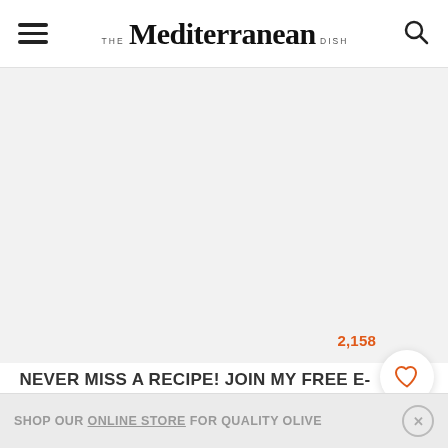THE Mediterranean DISH
[Figure (other): Large white/light gray content area placeholder below the header]
2,158
NEVER MISS A RECIPE! JOIN MY FREE E-MAIL LIST HERE.
SHOP OUR ONLINE STORE FOR QUALITY OLIVE OIL & ALL-NATURAL SPICES